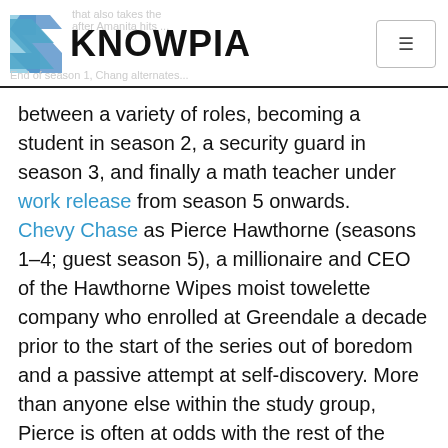KNOWPIA
between a variety of roles, becoming a student in season 2, a security guard in season 3, and finally a math teacher under work release from season 5 onwards.
Chevy Chase as Pierce Hawthorne (seasons 1–4; guest season 5), a millionaire and CEO of the Hawthorne Wipes moist towelette company who enrolled at Greendale a decade prior to the start of the series out of boredom and a passive attempt at self-discovery. More than anyone else within the study group, Pierce is often at odds with the rest of the group because of his arrogance, lack of empathy and casual ignorance of politically correct behavior, all which largely stem from his old age and his